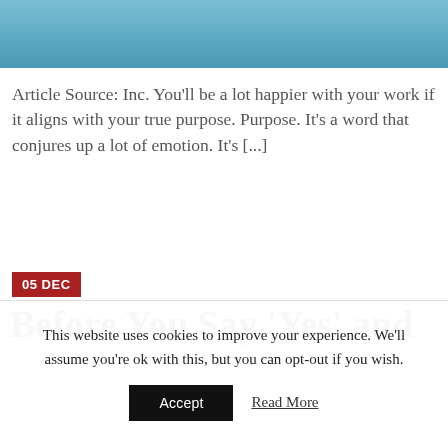[Figure (photo): Top portion of a photo with blue tones, partially cropped at the top of the page]
Article Source: Inc. You'll be a lot happier with your work if it aligns with your true purpose. Purpose. It's a word that conjures up a lot of emotion. It's [...]
05 DEC
Before You Say ‘Yes’ and
This website uses cookies to improve your experience. We’ll assume you’re ok with this, but you can opt-out if you wish.
Accept   Read More